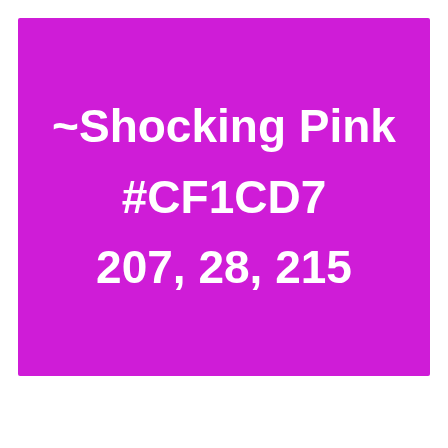~Shocking Pink
#CF1CD7
207, 28, 215